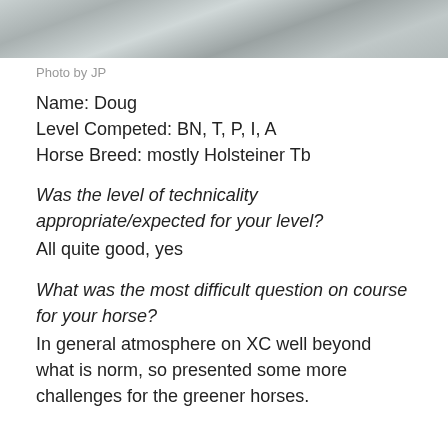[Figure (photo): Partial photo of a textured grey surface (likely ground or water), cropped at top of page]
Photo by JP
Name: Doug
Level Competed: BN, T, P, I, A
Horse Breed: mostly Holsteiner Tb
Was the level of technicality appropriate/expected for your level?
All quite good, yes
What was the most difficult question on course for your horse?
In general atmosphere on XC well beyond what is norm, so presented some more challenges for the greener horses.